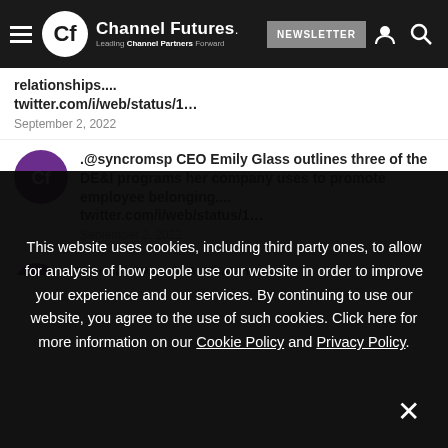Channel Futures. Leading Channel Partners Forward | NEWSLETTER
relationships.... twitter.com/i/web/status/1... September 2, 2022
.@syncromsp CEO Emily Glass outlines three of the DE&I programs her company uses to promote employee belonging.... twitter.com/i/web/status/1... September 2, 2022
Channel #PeopleOnTheMove at
This website uses cookies, including third party ones, to allow for analysis of how people use our website in order to improve your experience and our services. By continuing to use our website, you agree to the use of such cookies. Click here for more information on our Cookie Policy and Privacy Policy.